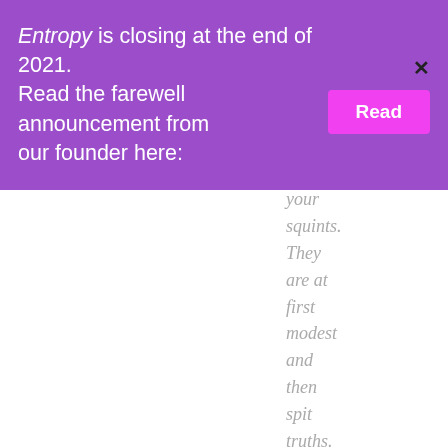Entropy is closing at the end of 2021. Read the farewell announcement from our founder here:
your squints. They are at first modest and then spit truths. They deciphe how "landsc